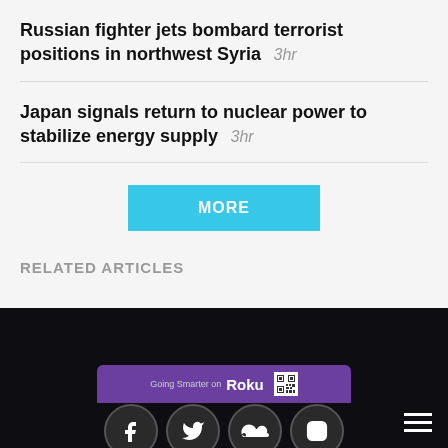Russian fighter jets bombard terrorist positions in northwest Syria  3hr
Japan signals return to nuclear power to stabilize energy supply  3hr
MORE
RELATED ARTICLES
[Figure (screenshot): Roku banner advertisement with QR code on purple background]
[Figure (screenshot): Social media icons (Facebook, Twitter, SoundCloud, Instagram, RSS, and an app icon) on dark background with hamburger menu]